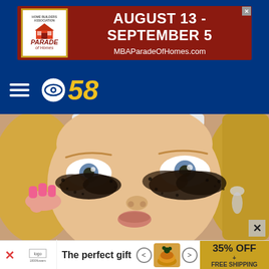[Figure (screenshot): Parade of Homes advertisement banner: August 13 - September 5, MBAParadeOfHomes.com, dark red background with white text and Parade of Homes logo]
[Figure (logo): CBS 58 navigation bar with hamburger menu icon and CBS eye logo with '58' in yellow italic on dark blue background]
[Figure (photo): Woman with blonde hair applying dark coffee grounds under her eyes as a beauty treatment, wearing pink nail polish and a teardrop earring]
[Figure (screenshot): Bottom advertisement: 'The perfect gift' with navigation arrows and a product image, offering 35% OFF + FREE SHIPPING, with a dismiss X button]